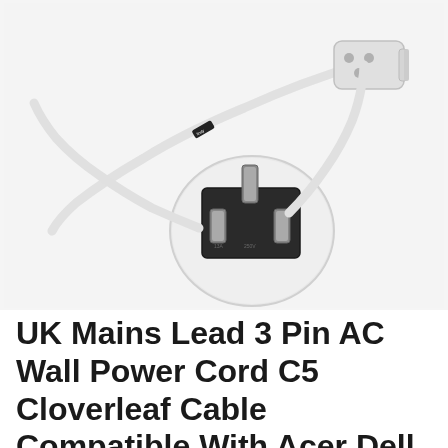[Figure (photo): A white UK 3-pin mains power plug with a C5 cloverleaf connector at the other end of a white cable, shown on a light grey/white background. The plug is a round UK BS1363 style with black metal pins. The C5 connector end (Mickey Mouse / cloverleaf shape) is visible at the upper right. A small black cable label/cable tie is visible on the cable.]
UK Mains Lead 3 Pin AC Wall Power Cord C5 Cloverleaf Cable Compatible With Acer Dell